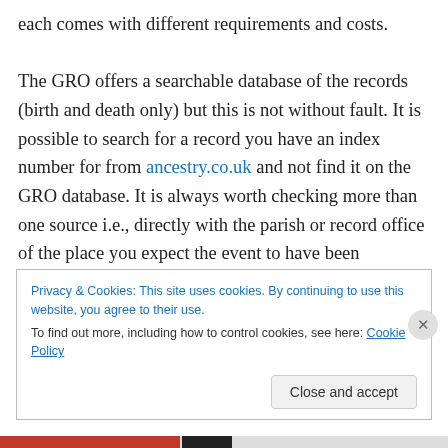each comes with different requirements and costs.

The GRO offers a searchable database of the records (birth and death only) but this is not without fault. It is possible to search for a record you have an index number for from ancestry.co.uk and not find it on the GRO database. It is always worth checking more than one source i.e., directly with the parish or record office of the place you expect the event to have been recorded. The benefit of the GRO database is that for birth records, the mother's maiden name is shown in the results. This can
Privacy & Cookies: This site uses cookies. By continuing to use this website, you agree to their use.
To find out more, including how to control cookies, see here: Cookie Policy
Close and accept